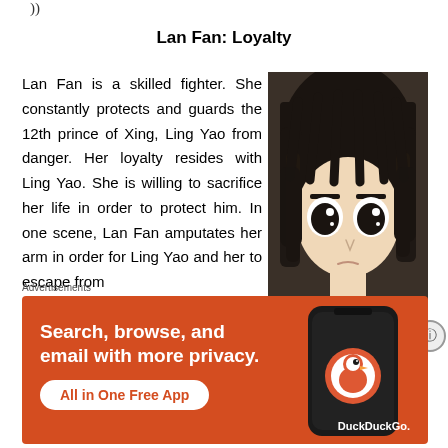))
Lan Fan: Loyalty
Lan Fan is a skilled fighter. She constantly protects and guards the 12th prince of Xing, Ling Yao from danger. Her loyalty resides with Ling Yao. She is willing to sacrifice her life in order to protect him. In one scene, Lan Fan amputates her arm in order for Ling Yao and her to escape from
[Figure (illustration): Anime character Lan Fan with dark hair and serious expression]
Advertisements
[Figure (screenshot): DuckDuckGo advertisement: Search, browse, and email with more privacy. All in One Free App. DuckDuckGo.]